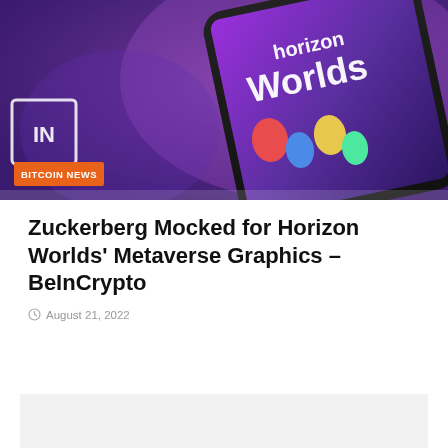[Figure (photo): Smartphone displaying Horizon Worlds metaverse app with colorful 3D animated characters, purple/blue gradient background. White [IN] bracket logo overlay on left. Orange 'BITCOIN NEWS' badge at bottom left.]
Zuckerberg Mocked for Horizon Worlds' Metaverse Graphics – BeInCrypto
August 21, 2022
[Figure (other): Light gray placeholder/advertisement box]